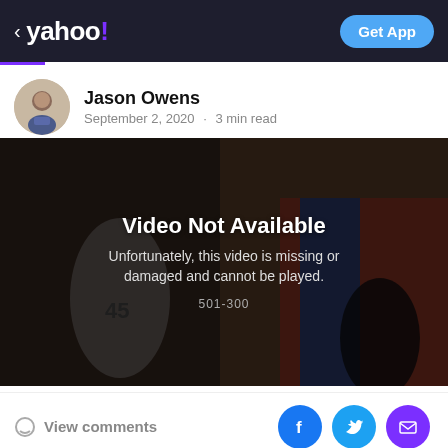< yahoo! — Get App
Jason Owens
September 2, 2020 · 3 min read
[Figure (screenshot): Video not available screen overlay on an NBA basketball game photo. White text reads 'Video Not Available' and below 'Unfortunately, this video is missing or damaged and cannot be played.' with error code '501-300'.]
View comments
[Figure (other): Social sharing icons: Facebook (blue circle), Twitter (light blue circle), Email/Mail (purple circle)]